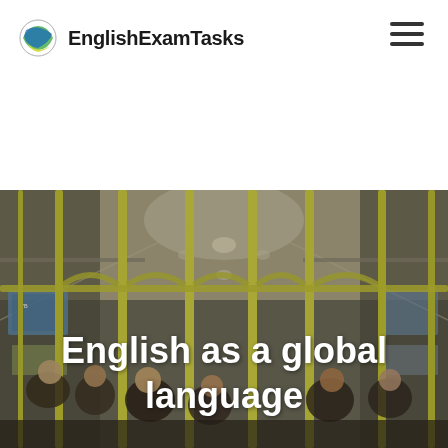EnglishExamTasks
[Figure (photo): Interior of a subway/underground train car with yellow vertical poles, passengers seated and standing, ceiling with lights and advertisement panels, viewed from inside the carriage looking toward the front.]
English as a global language